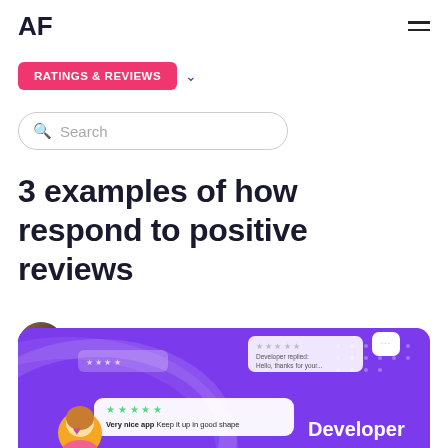AF
RATINGS & REVIEWS
Search
3 examples of how respond to positive reviews
Sasha Hodes
Updated: Feb 28
[Figure (illustration): Purple hero banner showing review cards with star ratings, a developer chat illustration, and a cartoon avatar. Text reads 'Very nice app Keep it up in good shape' and 'Developer'.]